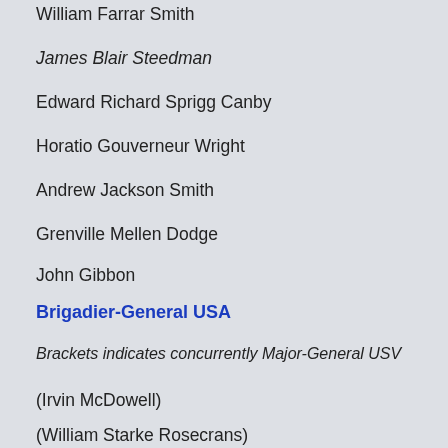William Farrar Smith
James Blair Steedman
Edward Richard Sprigg Canby
Horatio Gouverneur Wright
Andrew Jackson Smith
Grenville Mellen Dodge
John Gibbon
Brigadier-General USA
Brackets indicates concurrently Major-General USV
(Irvin McDowell)
(William Starke Rosecrans)